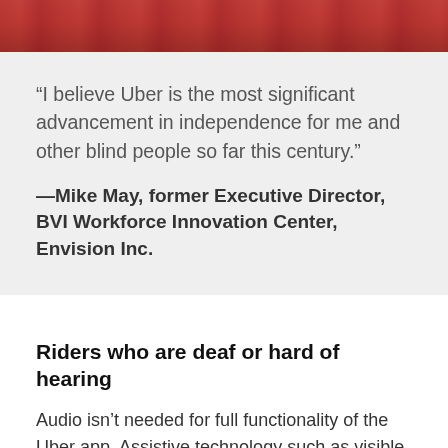[Figure (photo): Partial photo strip at top of page showing people, appears to include red/patterned clothing or decorative elements]
“I believe Uber is the most significant advancement in independence for me and other blind people so far this century.”
—Mike May, former Executive Director, BVI Workforce Innovation Center, Envision Inc.
Riders who are deaf or hard of hearing
Audio isn’t needed for full functionality of the Uber app. Assistive technology such as visible and vibrating alerts can help riders who are deaf or hard of hearing use the Uber app easily, and in-app features, such as the ability to enter a destination